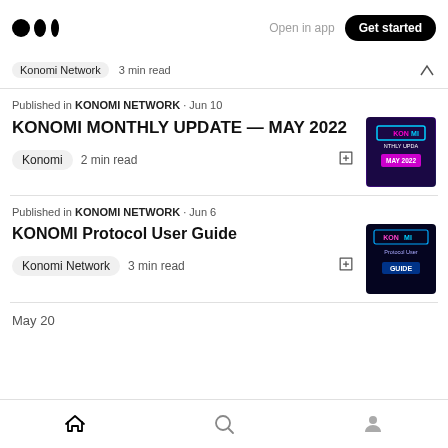Open in app | Get started
Konomi Network · 3 min read
Published in KONOMI NETWORK · Jun 10
KONOMI MONTHLY UPDATE — MAY 2022
Konomi · 2 min read
Published in KONOMI NETWORK · Jun 6
KONOMI Protocol User Guide
Konomi Network · 3 min read
May 20